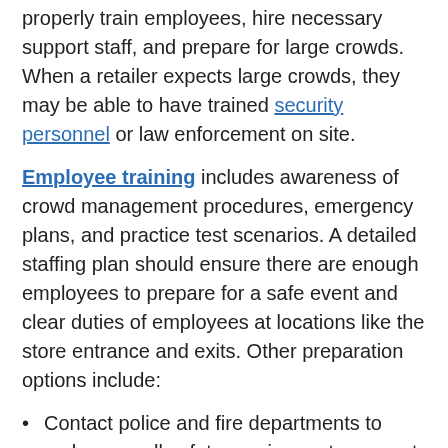properly train employees, hire necessary support staff, and prepare for large crowds. When a retailer expects large crowds, they may be able to have trained security personnel or law enforcement on site.
Employee training includes awareness of crowd management procedures, emergency plans, and practice test scenarios. A detailed staffing plan should ensure there are enough employees to prepare for a safe event and clear duties of employees at locations like the store entrance and exits. Other preparation options include:
Contact police and fire departments to make sure all safety requirements are met and ensure the authorities are aware of the event.
Designate specific employees to call 9-1-1 in the event of an emergency.
Provide clear signage to indicate entrances and exits.
Clear space to avoid bottlenecks